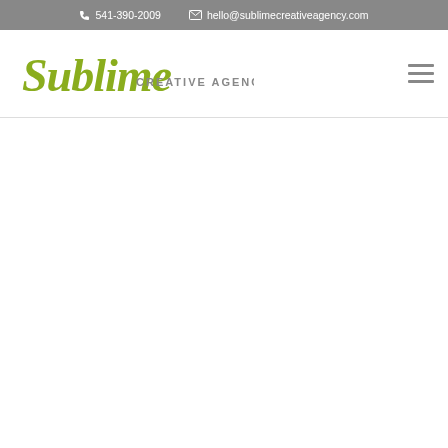541-390-2009   hello@sublimecreativeagency.com
[Figure (logo): Sublime Creative Agency logo — stylized cursive 'Sublime' in olive/lime green with 'CREATIVE AGENCY' in grey caps beside it]